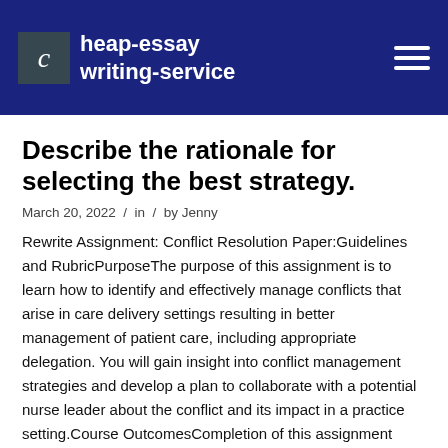cheap-essay writing-service
Describe the rationale for selecting the best strategy.
March 20, 2022 / in / by Jenny
Rewrite Assignment: Conflict Resolution Paper:Guidelines and RubricPurposeThe purpose of this assignment is to learn how to identify and effectively manage conflicts that arise in care delivery settings resulting in better management of patient care, including appropriate delegation. You will gain insight into conflict management strategies and develop a plan to collaborate with a potential nurse leader about the conflict and its impact in a practice setting.Course OutcomesCompletion of this assignment enables the student to meet the following course outcomes.CO 1: Apply leadership concepts, skills, and decision making in the provision of